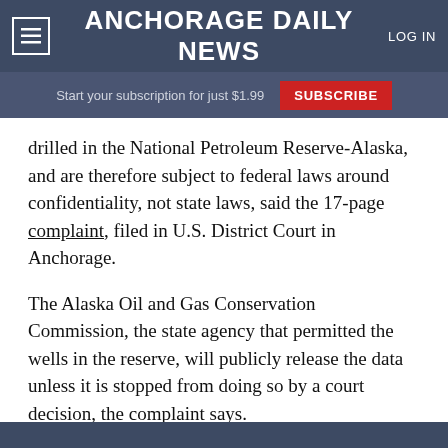Anchorage Daily News  LOG IN
Start your subscription for just $1.99  SUBSCRIBE
drilled in the National Petroleum Reserve-Alaska, and are therefore subject to federal laws around confidentiality, not state laws, said the 17-page complaint, filed in U.S. District Court in Anchorage.
The Alaska Oil and Gas Conservation Commission, the state agency that permitted the wells in the reserve, will publicly release the data unless it is stopped from doing so by a court decision, the complaint says.